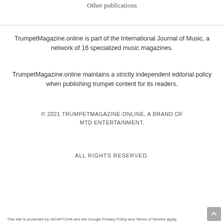Other publications
TrumpetMagazine.online is part of the International Journal of Music, a network of 16 specialized music magazines.
TrumpetMagazine.online maintains a strictly independent editorial policy when publishing trumpet content for its readers.
© 2021 TRUMPETMAGAZINE.ONLINE, A BRAND OF MTD ENTERTAINMENT.
ALL RIGHTS RESERVED.
This site is protected by reCAPTCHA and the Google Privacy Policy and Terms of Service apply.